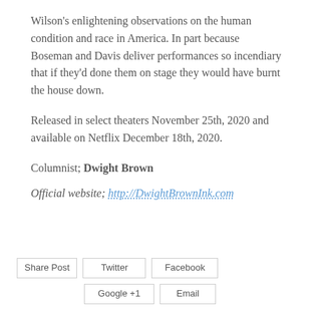Wilson's enlightening observations on the human condition and race in America. In part because Boseman and Davis deliver performances so incendiary that if they'd done them on stage they would have burnt the house down.
Released in select theaters November 25th, 2020 and available on Netflix December 18th, 2020.
Columnist; Dwight Brown
Official website; http://DwightBrownInk.com
Share Post | Twitter | Facebook | Google +1 | Email